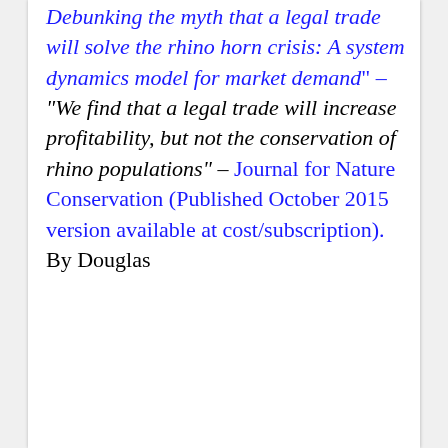Debunking the myth that a legal trade will solve the rhino horn crisis: A system dynamics model for market demand" – "We find that a legal trade will increase profitability, but not the conservation of rhino populations" –  Journal for Nature Conservation (Published October 2015 version available at cost/subscription). By Douglas